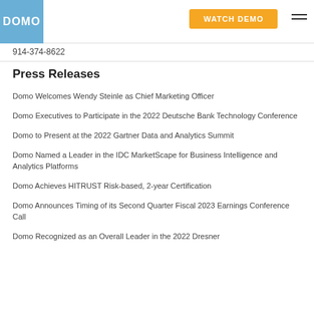DOMO | WATCH DEMO
914-374-8622
Press Releases
Domo Welcomes Wendy Steinle as Chief Marketing Officer
Domo Executives to Participate in the 2022 Deutsche Bank Technology Conference
Domo to Present at the 2022 Gartner Data and Analytics Summit
Domo Named a Leader in the IDC MarketScape for Business Intelligence and Analytics Platforms
Domo Achieves HITRUST Risk-based, 2-year Certification
Domo Announces Timing of its Second Quarter Fiscal 2023 Earnings Conference Call
Domo Recognized as an Overall Leader in the 2022 Dresner